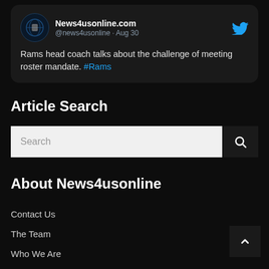[Figure (screenshot): Tweet from News4usonline.com (@news4usonline · Aug 30): Rams head coach talks about the challenge of meeting roster mandate. #Rams]
Article Search
Search
About News4usonline
Contact Us
The Team
Who We Are
Interns
Shirley's Sanctuary